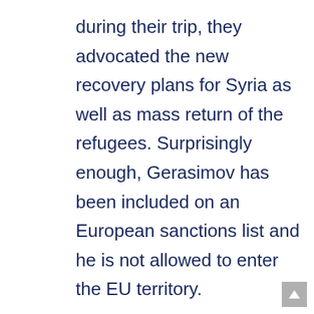during their trip, they advocated the new recovery plans for Syria as well as mass return of the refugees. Surprisingly enough, Gerasimov has been included on an European sanctions list and he is not allowed to enter the EU territory.

Nonetheless, the Kremlin still hopes to get some funds from Europe to sponsor the al-Assad regime. In addition, Moscow implies a new wave